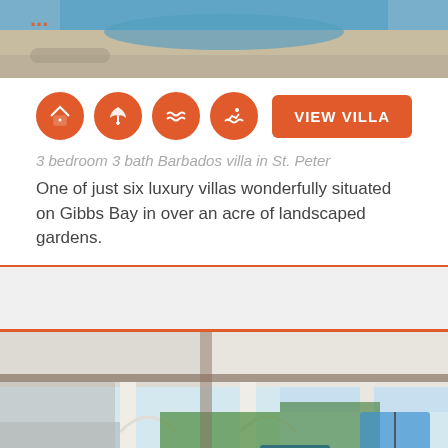[Figure (photo): Top portion of a Barbados villa exterior photo showing pool and beach area with partial orange text overlay]
[Figure (infographic): Four orange circular icons: house/villa, beach umbrella, waves/pool, swimming figure]
VIEW VILLA
3 bedroom 3 bath Barbados villa in St. Peter
One of just six luxury villas wonderfully situated on Gibbs Bay in over an acre of landscaped gardens.
[Figure (photo): Outdoor terrace/veranda of a Barbados villa with white columns, arched openings, rattan furniture with teal cushions, tropical garden and sea view, blue umbrellas visible]